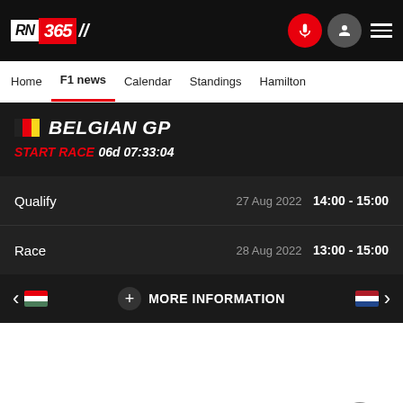RN 365
Home  F1 news  Calendar  Standings  Hamilton
BELGIAN GP
START RACE 06d 07:33:04
| Event | Date | Time |
| --- | --- | --- |
| Qualify | 27 Aug 2022 | 14:00 - 15:00 |
| Race | 28 Aug 2022 | 13:00 - 15:00 |
+ MORE INFORMATION